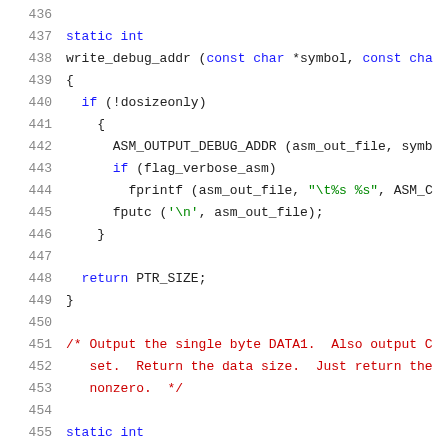Source code listing, lines 436-456, showing write_debug_addr and write_debug_data1 functions in C
[Figure (screenshot): C source code with syntax highlighting showing lines 436-456 of a file containing write_debug_addr and write_debug_data1 functions]